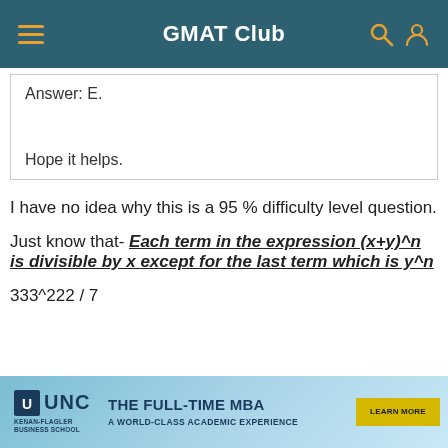GMAT Club
Answer: E.
Hope it helps.
I have no idea why this is a 95 % difficulty level question.
Just know that- Each term in the expression (x+y)^n is divisible by x except for the last term which is y^n
333^222 / 7
[Figure (other): UNC Kenan-Flagler Business School advertisement banner: THE FULL-TIME MBA - A WORLD-CLASS ACADEMIC EXPERIENCE with LEARN MORE button]